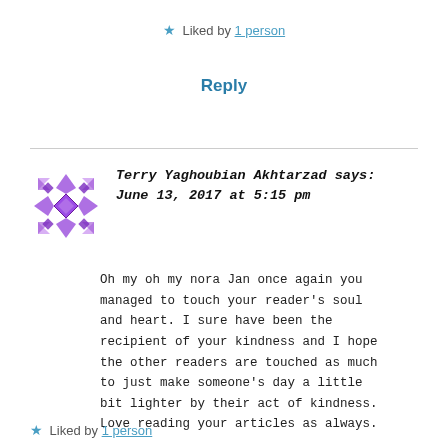★ Liked by 1 person
Reply
Terry Yaghoubian Akhtarzad says: June 13, 2017 at 5:15 pm
Oh my oh my nora Jan once again you managed to touch your reader's soul and heart. I sure have been the recipient of your kindness and I hope the other readers are touched as much to just make someone's day a little bit lighter by their act of kindness. Love reading your articles as always.
★ Liked by 1 person